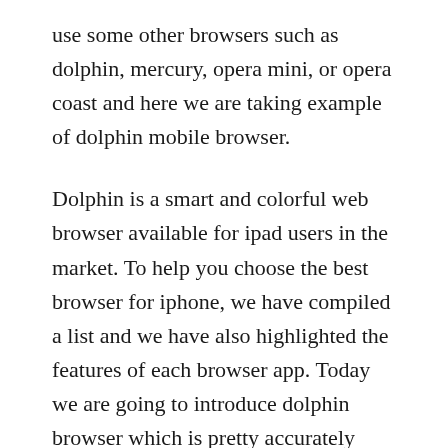use some other browsers such as dolphin, mercury, opera mini, or opera coast and here we are taking example of dolphin mobile browser.
Dolphin is a smart and colorful web browser available for ipad users in the market. To help you choose the best browser for iphone, we have compiled a list and we have also highlighted the features of each browser app. Today we are going to introduce dolphin browser which is pretty accurately named, if you ask me. Dolphin browser is another nice